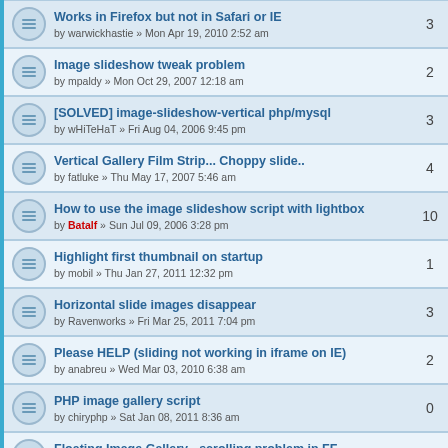Works in Firefox but not in Safari or IE — by warwickhastie » Mon Apr 19, 2010 2:52 am — 3
Image slideshow tweak problem — by mpaldy » Mon Oct 29, 2007 12:18 am — 2
[SOLVED] image-slideshow-vertical php/mysql — by wHiTeHaT » Fri Aug 04, 2006 9:45 pm — 3
Vertical Gallery Film Strip... Choppy slide.. — by fatluke » Thu May 17, 2007 5:46 am — 4
How to use the image slideshow script with lightbox — by Batalf » Sun Jul 09, 2006 3:28 pm — 10
Highlight first thumbnail on startup — by mobil » Thu Jan 27, 2011 12:32 pm — 1
Horizontal slide images disappear — by Ravenworks » Fri Mar 25, 2011 7:04 pm — 3
Please HELP (sliding not working in iframe on IE) — by anabreu » Wed Mar 03, 2010 6:38 am — 2
PHP image gallery script — by chiryphp » Sat Jan 08, 2011 8:36 am — 0
Floating Image Gallery - scrolling problem in FF — by guinntiques » Sun Nov 21, 2010 8:13 pm — 0
Image slideshow 5 thumbnail column position